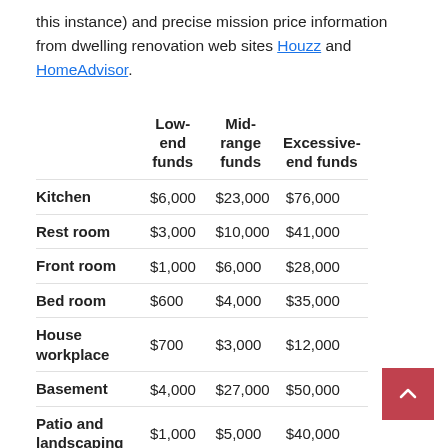this instance) and precise mission price information from dwelling renovation web sites Houzz and HomeAdvisor.
|  | Low-end funds | Mid-range funds | Excessive-end funds |
| --- | --- | --- | --- |
| Kitchen | $6,000 | $23,000 | $76,000 |
| Rest room | $3,000 | $10,000 | $41,000 |
| Front room | $1,000 | $6,000 | $28,000 |
| Bed room | $600 | $4,000 | $35,000 |
| House workplace | $700 | $3,000 | $12,000 |
| Basement | $4,000 | $27,000 | $50,000 |
| Patio and landscaping | $1,000 | $5,000 | $40,000 |
| Roofing | $4,000 | $9,000 | $19,000 |